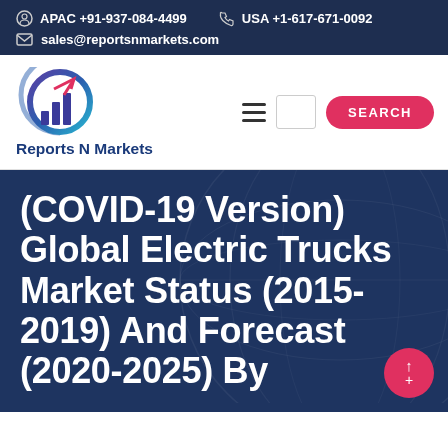APAC +91-937-084-4499   USA +1-617-671-0092   sales@reportsnmarkets.com
[Figure (logo): Reports N Markets logo with bar chart and circular arrow graphic in blue/purple gradient]
(COVID-19 Version) Global Electric Trucks Market Status (2015-2019) And Forecast (2020-2025) By